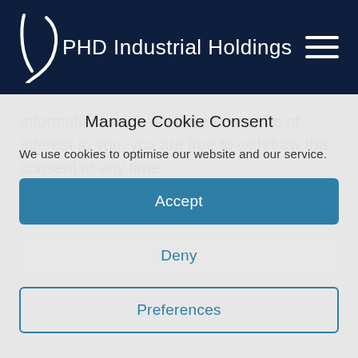PHD Industrial Holdings
information which we believe may be of interest to you, you are free to withdraw this consent at any time.
You can access this notice followed ...
Manage Cookie Consent
We use cookies to optimise our website and our service.
Accept
Deny
Preferences